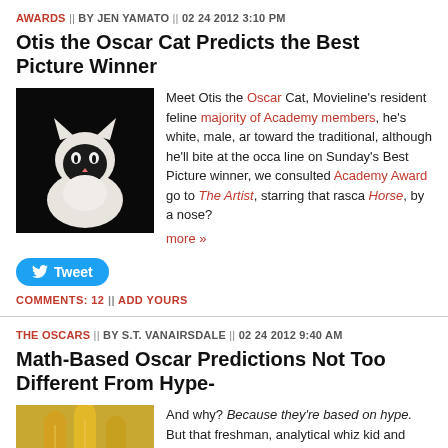AWARDS || BY JEN YAMATO || 02 24 2012 3:10 PM
Otis the Oscar Cat Predicts the Best Picture Winner
[Figure (photo): Photo of a white cat against a dark background]
Meet Otis the Oscar Cat, Movieline's resident feline majority of Academy members, he's white, male, and toward the traditional, although he'll bite at the occa line on Sunday's Best Picture winner, we consulted Academy Award go to The Artist, starring that rasca Horse, by a nose? more »
Tweet
COMMENTS: 12 || ADD YOURS
THE OSCARS || BY S.T. VANAIRSDALE || 02 24 2012 9:40 AM
Math-Based Oscar Predictions Not Too Different From Hype-
[Figure (photo): Photo of golden Oscar statuettes]
And why? Because they're based on hype. But that freshman, analytical whiz kid and proprietor of the m prognostication site Ben's Oscar Forecast! Movielin of Kudos Forensics has the science down and is so